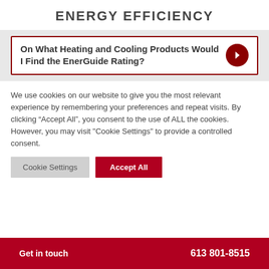ENERGY EFFICIENCY
On What Heating and Cooling Products Would I Find the EnerGuide Rating?
We use cookies on our website to give you the most relevant experience by remembering your preferences and repeat visits. By clicking “Accept All”, you consent to the use of ALL the cookies. However, you may visit "Cookie Settings" to provide a controlled consent.
Get in touch   613 801-8515